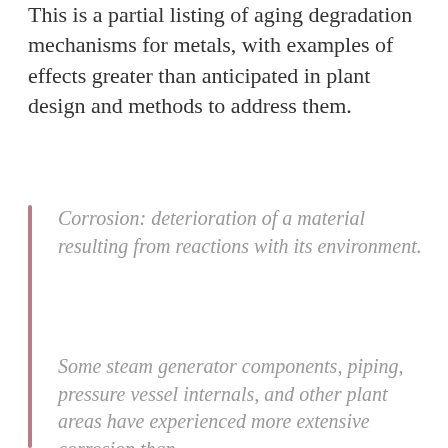This is a partial listing of aging degradation mechanisms for metals, with examples of effects greater than anticipated in plant design and methods to address them.
Corrosion: deterioration of a material resulting from reactions with its environment.
Some steam generator components, piping, pressure vessel internals, and other plant areas have experienced more extensive corrosion than